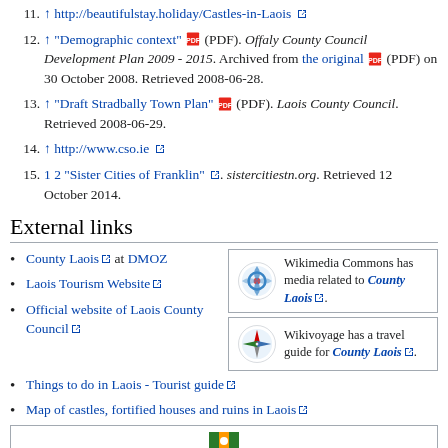11. ↑ http://beautifulstay.holiday/Castles-in-Laois
12. ↑ "Demographic context" (PDF). Offaly County Council Development Plan 2009 - 2015. Archived from the original (PDF) on 30 October 2008. Retrieved 2008-06-28.
13. ↑ "Draft Stradbally Town Plan" (PDF). Laois County Council. Retrieved 2008-06-29.
14. ↑ http://www.cso.ie
15. 1 2 "Sister Cities of Franklin". sistercitiestn.org. Retrieved 12 October 2014.
External links
County Laois at DMOZ
Laois Tourism Website
Official website of Laois County Council
[Figure (infographic): Wikimedia Commons box with Wikimedia Commons logo, text: Wikimedia Commons has media related to County Laois.]
[Figure (infographic): Wikivoyage box with Wikivoyage logo, text: Wikivoyage has a travel guide for County Laois.]
Things to do in Laois - Tourist guide
Map of castles, fortified houses and ruins in Laois
[Figure (infographic): Bottom box with a flag/coat of arms icon (partially visible)]